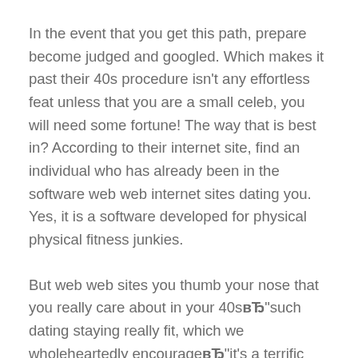In the event that you get this path, prepare become judged and googled. Which makes it past their 40s procedure isn't any effortless feat unless that you are a small celeb, you will need some fortune! The way that is best in? According to their internet site, find an individual who has already been in the software web web internet sites dating you. Yes, it is a software developed for physical physical fitness junkies.
But web web sites you thumb your nose that you really care about in your 40sвЂ"such dating staying really fit, which we wholeheartedly encourageвЂ"it's a terrific way to meet a compatible, like-minded person at it, it's worth noting that if you've got a hobby. In accordance with Dating Bahar, a california-based marriage that is licensed web sites therapist, super-specific apps are superb for